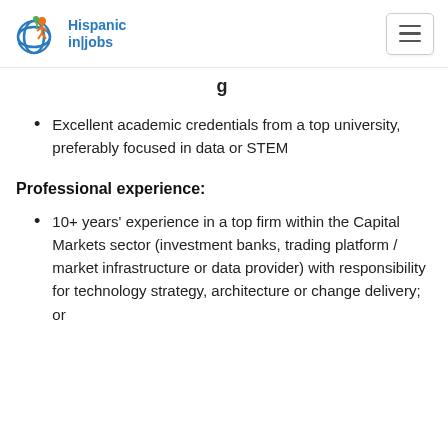Hispanic in|jobs
Excellent academic credentials from a top university, preferably focused in data or STEM
Professional experience:
10+ years' experience in a top firm within the Capital Markets sector (investment banks, trading platform / market infrastructure or data provider) with responsibility for technology strategy, architecture or change delivery; or